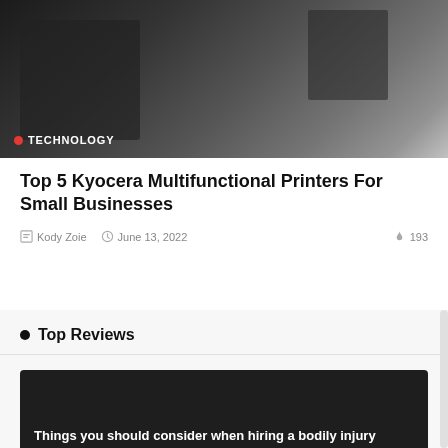[Figure (photo): Close-up photo of a Kyocera multifunctional printer, dark background]
TECHNOLOGY
Top 5 Kyocera Multifunctional Printers For Small Businesses
Kody Zoie   June 13, 2022   193
Top Reviews
[Figure (photo): Dark background card with text: Things you should consider when hiring a bodily injury lawyer]
[Figure (photo): Colorful abstract image, partially visible at bottom]